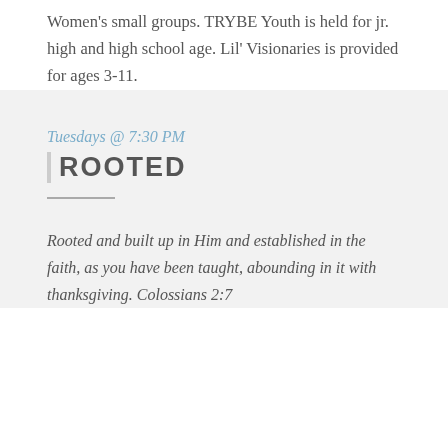Women's small groups. TRYBE Youth is held for jr. high and high school age. Lil' Visionaries is provided for ages 3-11.
Tuesdays @ 7:30 PM
ROOTED
Rooted and built up in Him and established in the faith, as you have been taught, abounding in it with thanksgiving. Colossians 2:7